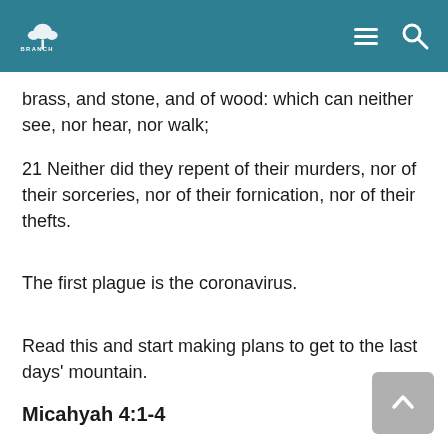BRANCH
brass, and stone, and of wood: which can neither see, nor hear, nor walk;
21 Neither did they repent of their murders, nor of their sorceries, nor of their fornication, nor of their thefts.
The first plague is the coronavirus.
Read this and start making plans to get to the last days' mountain.
Micahyah 4:1-4